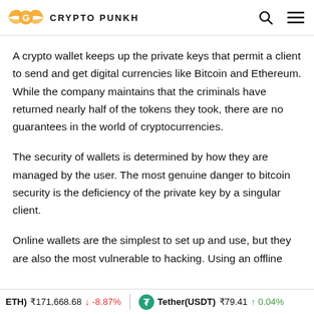CRYPTO PUNKH
A crypto wallet keeps up the private keys that permit a client to send and get digital currencies like Bitcoin and Ethereum. While the company maintains that the criminals have returned nearly half of the tokens they took, there are no guarantees in the world of cryptocurrencies.
The security of wallets is determined by how they are managed by the user. The most genuine danger to bitcoin security is the deficiency of the private key by a singular client.
Online wallets are the simplest to set up and use, but they are also the most vulnerable to hacking. Using an offline
ETH) ₹171,668.68 ↓ -8.87%   Tether(USDT) ₹79.41 ↑ 0.04%